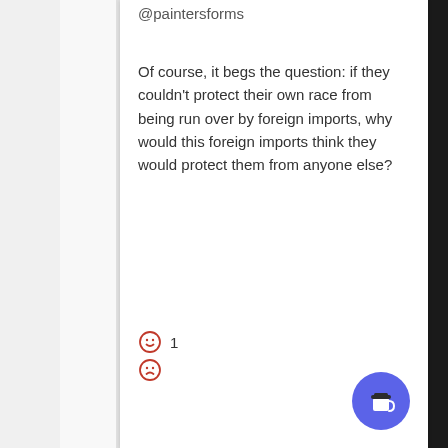@paintersforms
Of course, it begs the question: if they couldn't protect their own race from being run over by foreign imports, why would this foreign imports think they would protect them from anyone else?
[Figure (other): Smiley face emoji (happy) with count 1, and sad face emoji below — reaction icons in red outline style]
[Figure (other): Blue circular button with coffee cup icon in bottom right corner]